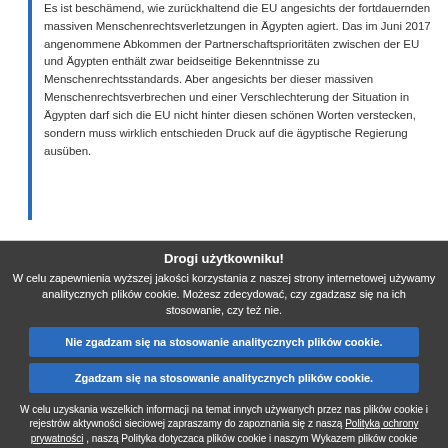Es ist beschämend, wie zurückhaltend die EU angesichts der fortdauernden massiven Menschenrechtsverletzungen in Ägypten agiert. Das im Juni 2017 angenommene Abkommen der Partnerschaftsprioritäten zwischen der EU und Ägypten enthält zwar beidseitige Bekenntnisse zu Menschenrechtsstandards. Aber angesichts ber dieser massiven Menschenrechtsverbrechen und einer Verschlechterung der Situation in Ägypten darf sich die EU nicht hinter diesen schönen Worten verstecken, sondern muss wirklich entschieden Druck auf die ägyptische Regierung ausüben.
Drogi użytkowniku! W celu zapewnienia wyższej jakości korzystania z naszej strony internetowej używamy analitycznych plików cookie. Możesz zdecydować, czy zgadzasz się na ich stosowanie, czy też nie.
Nie zgadzam się na stosowanie analitycznych plików cookie.
Zgadzam się na stosowanie analitycznych plików cookie.
W celu uzyskania wszelkich informacji na temat innych używanych przez nas plików cookie i rejestrów aktywności sieciowej zapraszamy do zapoznania się z naszą Polityką ochrony prywatności , naszą Polityką dotyczącą plików cookie i naszym Wykazem plików cookie